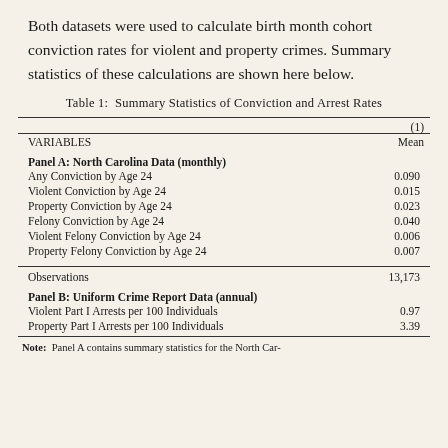Both datasets were used to calculate birth month cohort conviction rates for violent and property crimes. Summary statistics of these calculations are shown here below.
Table 1: Summary Statistics of Conviction and Arrest Rates
| VARIABLES | (1) Mean |
| --- | --- |
| Panel A: North Carolina Data (monthly) |  |
| Any Conviction by Age 24 | 0.090 |
| Violent Conviction by Age 24 | 0.015 |
| Property Conviction by Age 24 | 0.023 |
| Felony Conviction by Age 24 | 0.040 |
| Violent Felony Conviction by Age 24 | 0.006 |
| Property Felony Conviction by Age 24 | 0.007 |
| Observations | 13,173 |
| Panel B: Uniform Crime Report Data (annual) |  |
| Violent Part I Arrests per 100 Individuals | 0.97 |
| Property Part I Arrests per 100 Individuals | 3.39 |
Note: Panel A contains summary statistics for the North Car-